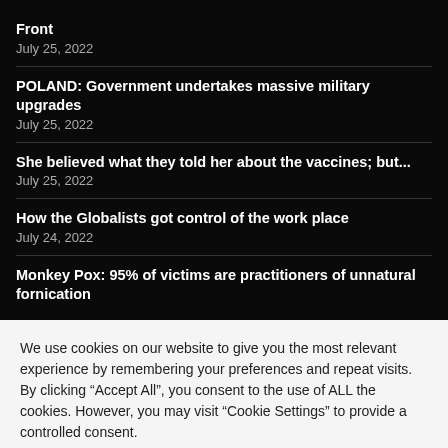Front
July 25, 2022
POLAND: Government undertakes massive military upgrades
July 25, 2022
She believed what they told her about the vaccines; but...
July 25, 2022
How the Globalists got control of the work place
July 24, 2022
Monkey Pox: 95% of victims are practitioners of unnatural fornication
We use cookies on our website to give you the most relevant experience by remembering your preferences and repeat visits. By clicking “Accept All”, you consent to the use of ALL the cookies. However, you may visit "Cookie Settings" to provide a controlled consent.
Cookie Settings | Accept All